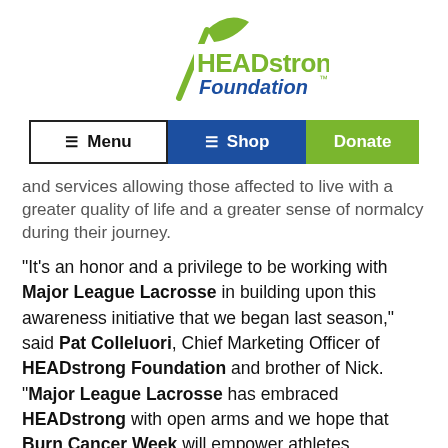[Figure (logo): HEADstrong Foundation logo — green lacrosse stick with blue and green stylized text reading 'HEADstrong Foundation']
[Figure (infographic): Navigation bar with three buttons: Menu (white/black border), Shop (blue), Donate (green)]
and services allowing those affected to live with a greater quality of life and a greater sense of normalcy during their journey.
“It’s an honor and a privilege to be working with Major League Lacrosse in building upon this awareness initiative that we began last season,” said Pat Colleluori, Chief Marketing Officer of HEADstrong Foundation and brother of Nick. “Major League Lacrosse has embraced HEADstrong with open arms and we hope that Burn Cancer Week will empower athletes nationwide in support of the cause, shed light on